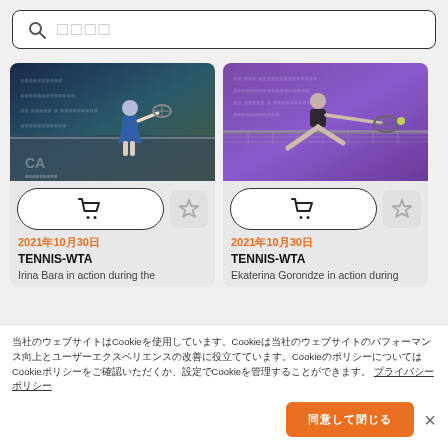🔍 □□□□ (search bar placeholder)
[Figure (photo): Tennis player Irina Bara in action on indoor court, wearing blue outfit, hitting ball with racket]
[Figure (photo): Tennis player Ekaterina Gorondze in action on purple court, wearing black outfit, reaching for ball over net]
2021年10月30日
TENNIS-WTA
Irina Bara in action during the
2021年10月30日
TENNIS-WTA
Ekaterina Gorondze in action during
当社のウェブサイトはCookieを使用しています。Cookieは当社のウェブサイトのパフォーマンス向上とユーザーエクスペリエンスの改善に役立てています。CookieのポリシーについてはCookieポリシーをご確認いただくか、設定でCookieを管理することができます。 プライバシーポリシー
同意して閉じる